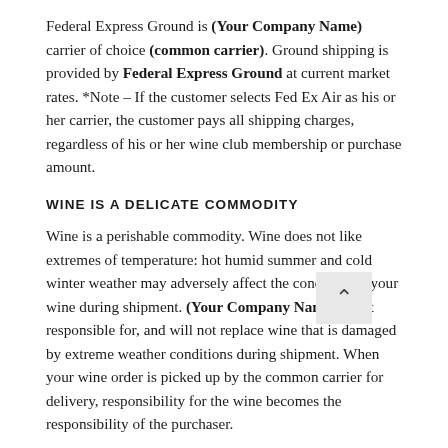Federal Express Ground is (Your Company Name) carrier of choice (common carrier). Ground shipping is provided by Federal Express Ground at current market rates. *Note – If the customer selects Fed Ex Air as his or her carrier, the customer pays all shipping charges, regardless of his or her wine club membership or purchase amount.
WINE IS A DELICATE COMMODITY
Wine is a perishable commodity. Wine does not like extremes of temperature: hot humid summer and cold winter weather may adversely affect the condition of your wine during shipment. (Your Company Name) is not responsible for, and will not replace wine that is damaged by extreme weather conditions during shipment. When your wine order is picked up by the common carrier for delivery, responsibility for the wine becomes the responsibility of the purchaser.